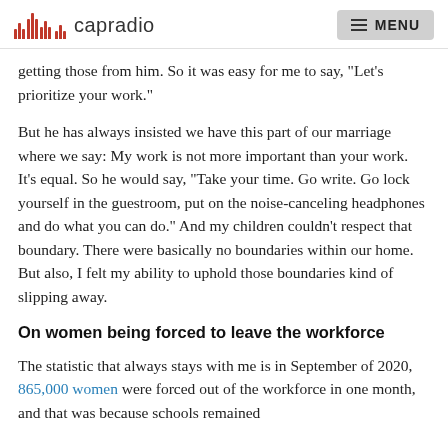capradio  MENU
getting those from him. So it was easy for me to say, "Let's prioritize your work."
But he has always insisted we have this part of our marriage where we say: My work is not more important than your work. It's equal. So he would say, "Take your time. Go write. Go lock yourself in the guestroom, put on the noise-canceling headphones and do what you can do." And my children couldn't respect that boundary. There were basically no boundaries within our home. But also, I felt my ability to uphold those boundaries kind of slipping away.
On women being forced to leave the workforce
The statistic that always stays with me is in September of 2020, 865,000 women were forced out of the workforce in one month, and that was because schools remained